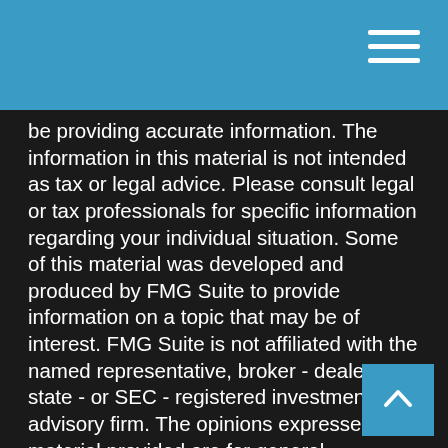be providing accurate information. The information in this material is not intended as tax or legal advice. Please consult legal or tax professionals for specific information regarding your individual situation. Some of this material was developed and produced by FMG Suite to provide information on a topic that may be of interest. FMG Suite is not affiliated with the named representative, broker - dealer, state - or SEC - registered investment advisory firm. The opinions expressed and material provided are for general information, and should not be considered a solicitation for the purchase or sale of any security.
We take protecting your data and privacy very seriously. As of January 1, 2020 the California Consumer Privacy Act (CCPA) suggests the following link as an extra measure to safeguard your data: Do not sell my personal information.
Securities and investment advisory services offered through qualified registered representatives of MML Investors Services, LLC Member SIPC